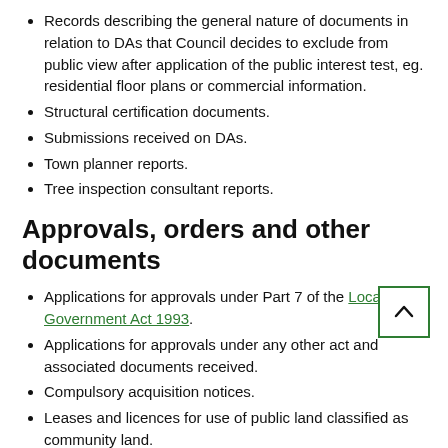Records describing the general nature of documents in relation to DAs that Council decides to exclude from public view after application of the public interest test, eg. residential floor plans or commercial information.
Structural certification documents.
Submissions received on DAs.
Town planner reports.
Tree inspection consultant reports.
Approvals, orders and other documents
Applications for approvals under Part 7 of the Local Government Act 1993.
Applications for approvals under any other act and associated documents received.
Compulsory acquisition notices.
Leases and licences for use of public land classified as community land.